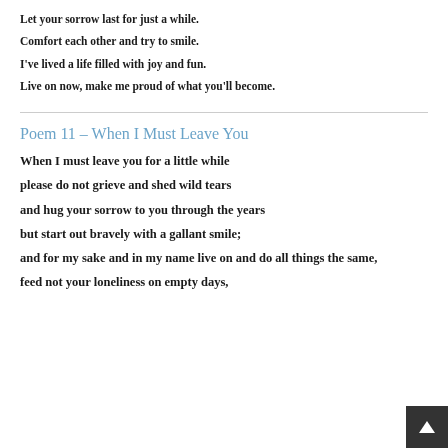Let your sorrow last for just a while.
Comfort each other and try to smile.
I've lived a life filled with joy and fun.
Live on now, make me proud of what you'll become.
Poem 11 – When I Must Leave You
When I must leave you for a little while
please do not grieve and shed wild tears
and hug your sorrow to you through the years
but start out bravely with a gallant smile;
and for my sake and in my name live on and do all things the same,
feed not your loneliness on empty days,